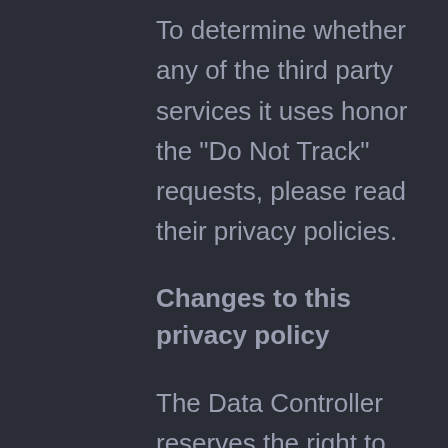To determine whether any of the third party services it uses honor the “Do Not Track” requests, please read their privacy policies.
Changes to this privacy policy
The Data Controller reserves the right to make changes to this privacy policy at any time by giving notice